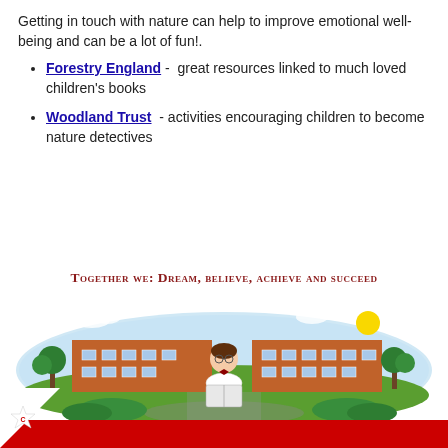Getting in touch with nature can help to improve emotional well-being and can be a lot of fun!.
Forestry England - great resources linked to much loved children's books
Woodland Trust - activities encouraging children to become nature detectives
Together we: Dream, believe, achieve and succeed
[Figure (illustration): Illustration of a school building with a child reading a book in front, green grass, trees, and a sun in the sky. Oval framed scene.]